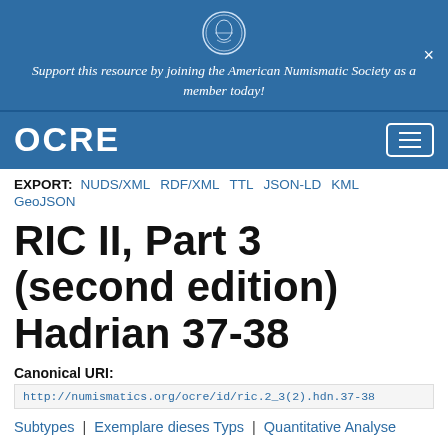Support this resource by joining the American Numismatic Society as a member today!
OCRE
EXPORT: NUDS/XML RDF/XML TTL JSON-LD KML GeoJSON
RIC II, Part 3 (second edition) Hadrian 37-38
Canonical URI:
http://numismatics.org/ocre/id/ric.2_3(2).hdn.37-38
Subtypes | Exemplare dieses Typs | Quantitative Analyse
typologische Beschreibung